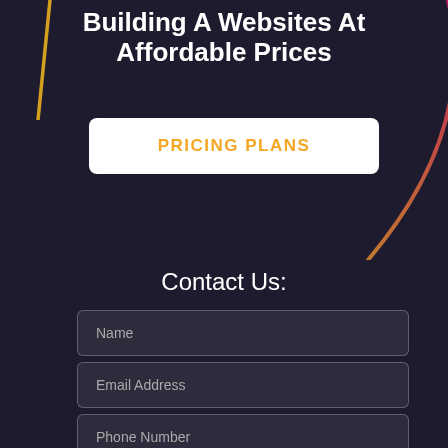Building A Websites At Affordable Prices
PRICING PLANS
Contact Us:
Name
Email Address
Phone Number